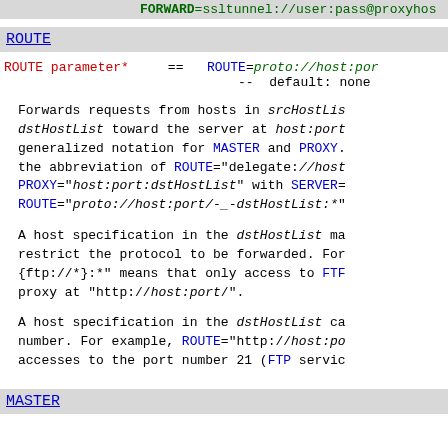FORWARD=ssltunnel://user:pass@proxyhos
ROUTE
ROUTE parameter*    ==  ROUTE=proto://host:por
                    --  default: none
Forwards requests from hosts in srcHostList dstHostList toward the server at host:port generalized notation for MASTER and PROXY. the abbreviation of ROUTE="delegate://host PROXY="host:port:dstHostList" with SERVER= ROUTE="proto://host:port/-_-dstHostList:*"
A host specification in the dstHostList ma restrict the protocol to be forwarded. For {ftp://*}:*" means that only access to FTP proxy at "http://host:port/".
A host specification in the dstHostList ca number. For example, ROUTE="http://host:po accesses to the port number 21 (FTP servic
MASTER